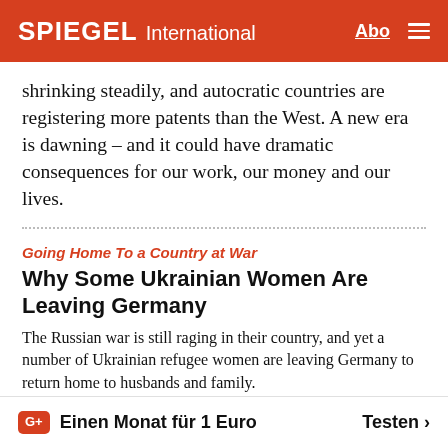SPIEGEL International
shrinking steadily, and autocratic countries are registering more patents than the West. A new era is dawning – and it could have dramatic consequences for our work, our money and our lives.
Going Home To a Country at War
Why Some Ukrainian Women Are Leaving Germany
The Russian war is still raging in their country, and yet a number of Ukrainian refugee women are leaving Germany to return home to husbands and family.
ANZEIGE
[Figure (photo): Advertisement area showing dark navy cushion/pillow products with a scroll-up button overlay]
Einen Monat für 1 Euro
Testen >